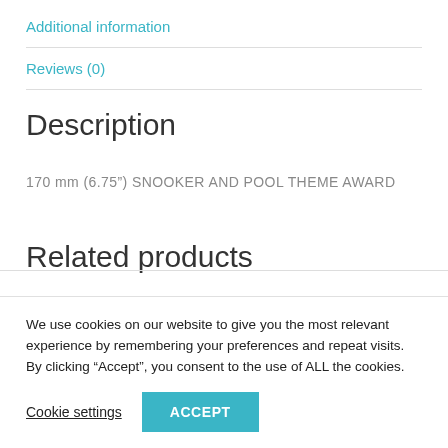Additional information
Reviews (0)
Description
170 mm (6.75") SNOOKER AND POOL THEME AWARD
Related products
We use cookies on our website to give you the most relevant experience by remembering your preferences and repeat visits. By clicking “Accept”, you consent to the use of ALL the cookies.
Cookie settings
ACCEPT